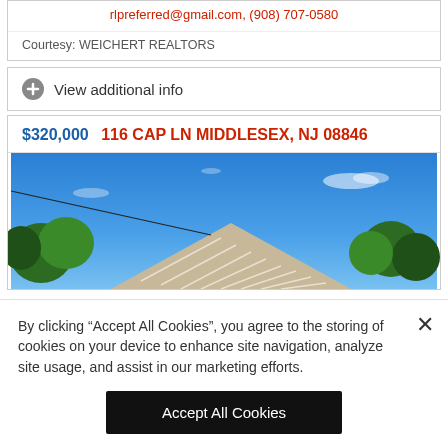rlpreferred@gmail.com, (908) 707-0580
Courtesy: WEICHERT REALTORS
View additional info
$320,000   116 CAP LN MIDDLESEX, NJ 08846
[Figure (photo): Exterior photo of a house at 116 Cap Ln Middlesex, NJ showing white siding roof peak against a bright blue sky with trees in the background]
By clicking “Accept All Cookies”, you agree to the storing of cookies on your device to enhance site navigation, analyze site usage, and assist in our marketing efforts.
Accept All Cookies